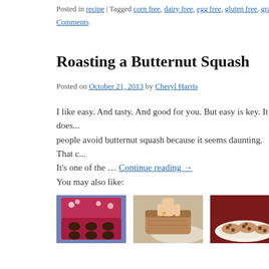Posted in recipe | Tagged corn free, dairy free, egg free, gluten free, grain fre...
Comments
Roasting a Butternut Squash
Posted on October 21, 2013 by Cheryl Harris
I like easy. And tasty. And good for you. But easy is key. It does... people avoid butternut squash because it seems daunting. That c... It's one of the … Continue reading →
You may also like:
[Figure (photo): Heart-shaped box of chocolates with red polka-dot lid on blue background]
[Figure (photo): Hand holding a slice of chai breakfast cake over a plate]
[Figure (photo): Cookies on a white plate against dark red background]
Amazing Chocolates
Chai Breakfast Cake
Divine Cho...